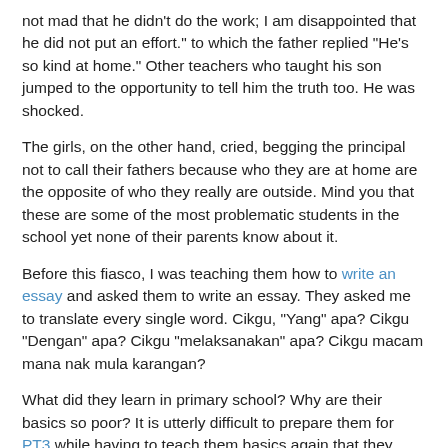not mad that he didn't do the work; I am disappointed that he did not put an effort." to which the father replied "He's so kind at home." Other teachers who taught his son jumped to the opportunity to tell him the truth too. He was shocked.
The girls, on the other hand, cried, begging the principal not to call their fathers because who they are at home are the opposite of who they really are outside. Mind you that these are some of the most problematic students in the school yet none of their parents know about it.
Before this fiasco, I was teaching them how to write an essay and asked them to write an essay. They asked me to translate every single word. Cikgu, "Yang" apa? Cikgu "Dengan" apa? Cikgu "melaksanakan" apa? Cikgu macam mana nak mula karangan?
What did they learn in primary school? Why are their basics so poor? It is utterly difficult to prepare them for PT3 while having to teach them basics again that they were supposed to know, at the very least, during their six years in primary school.